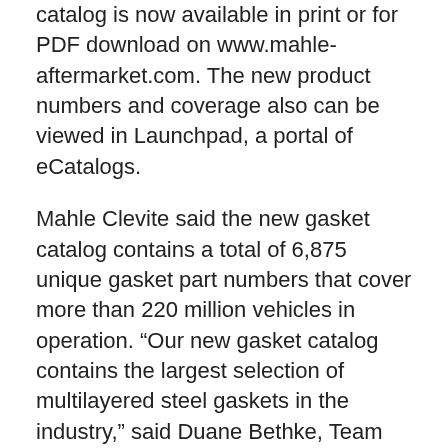catalog is now available in print or for PDF download on www.mahle-aftermarket.com. The new product numbers and coverage also can be viewed in Launchpad, a portal of eCatalogs.
Mahle Clevite said the new gasket catalog contains a total of 6,875 unique gasket part numbers that cover more than 220 million vehicles in operation. “Our new gasket catalog contains the largest selection of multilayered steel gaskets in the industry,” said Duane Bethke, Team Coordinator II (Gaskets), Mahle Clevite. “We are pleased that our new catalog not only expands our gasket coverage in the aftermarket, but also further exemplifies our commitment to ‘OE Form, Fit, and Function.’ ”
Launchpad features an “Add to Cart” ordering function tied directly into consumer accounts. Users